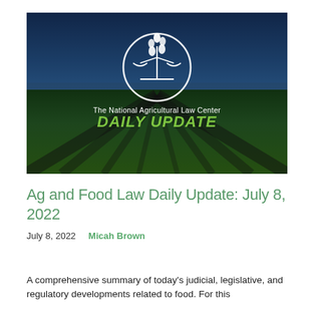[Figure (logo): Hero image of a farm field with rows of green crops under a blue sky, overlaid with the National Agricultural Law Center logo (scales of justice with a wheat/plant motif in a circle) and text 'The National Agricultural Law Center' above bold green text 'DAILY UPDATE']
Ag and Food Law Daily Update: July 8, 2022
July 8, 2022    Micah Brown
A comprehensive summary of today's judicial, legislative, and regulatory developments related to food. For this...